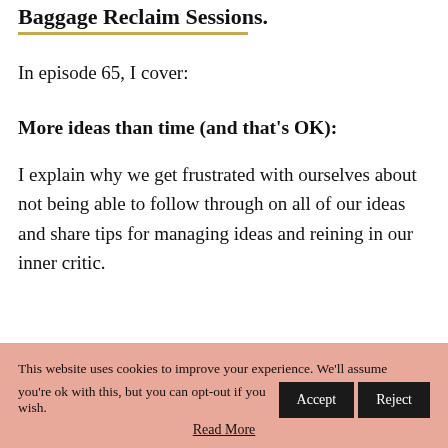Baggage Reclaim Sessions.
In episode 65, I cover:
More ideas than time (and that's OK):
I explain why we get frustrated with ourselves about not being able to follow through on all of our ideas and share tips for managing ideas and reining in our inner critic.
Key points include:
This website uses cookies to improve your experience. We'll assume you're ok with this, but you can opt-out if you wish. Accept Reject Read More